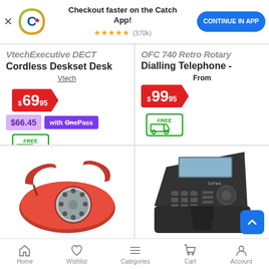Checkout faster on the Catch App! ★★★★★ (370k)
Vtech Executive DECT Cordless Deskset Desk
Vtech
$69.95
$66.45 with OnePass
FREE delivery
OFC 740 Retro Rotary Dialling Telephone -
From
$99.95
FREE delivery
[Figure (photo): Red retro rotary dial telephone]
[Figure (photo): Black modern desk IP telephone]
Home   Wishlist   Categories   Cart   Account